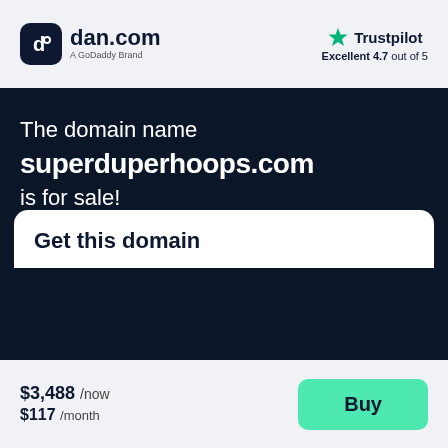[Figure (logo): dan.com logo with dark rounded square icon and text 'dan.com', subtitle 'A GoDoddy Brand']
[Figure (logo): Trustpilot logo with green star icon, text 'Trustpilot', rating 'Excellent 4.7 out of 5']
The domain name superduperhoops.com is for sale!
Get this domain
$3,488 /now $117 /month
[Figure (other): Green Buy button]